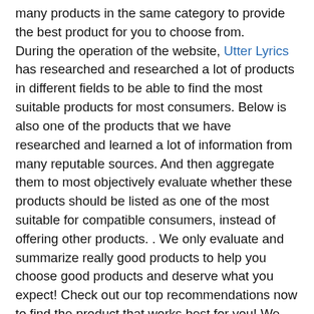many products in the same category to provide the best product for you to choose from. During the operation of the website, Utter Lyrics has researched and researched a lot of products in different fields to be able to find the most suitable products for most consumers. Below is also one of the products that we have researched and learned a lot of information from many reputable sources. And then aggregate them to most objectively evaluate whether these products should be listed as one of the most suitable for compatible consumers, instead of offering other products. . We only evaluate and summarize really good products to help you choose good products and deserve what you expect! Check out our top recommendations now to find the product that works best for you! We only accept money if you buy a product through our links and all product reviews are ours.